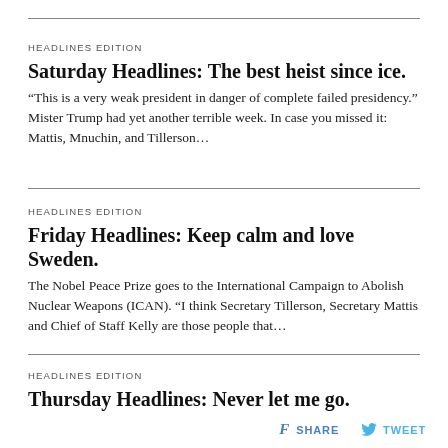HEADLINES EDITION
Saturday Headlines: The best heist since ice.
“This is a very weak president in danger of complete failed presidency.” Mister Trump had yet another terrible week. In case you missed it: Mattis, Mnuchin, and Tillerson…
HEADLINES EDITION
Friday Headlines: Keep calm and love Sweden.
The Nobel Peace Prize goes to the International Campaign to Abolish Nuclear Weapons (ICAN). “I think Secretary Tillerson, Secretary Mattis and Chief of Staff Kelly are those people that…
HEADLINES EDITION
Thursday Headlines: Never let me go.
f SHARE   TWEET